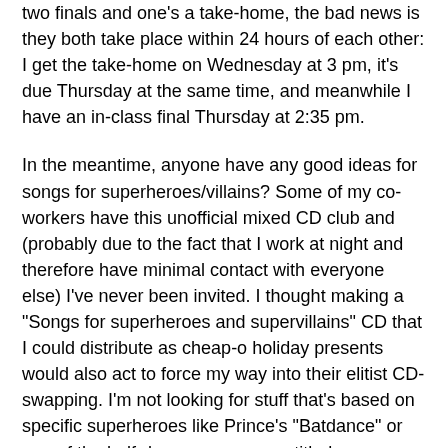two finals and one's a take-home, the bad news is they both take place within 24 hours of each other: I get the take-home on Wednesday at 3 pm, it's due Thursday at the same time, and meanwhile I have an in-class final Thursday at 2:35 pm.
In the meantime, anyone have any good ideas for songs for superheroes/villains? Some of my co-workers have this unofficial mixed CD club and (probably due to the fact that I work at night and therefore have minimal contact with everyone else) I've never been invited. I thought making a "Songs for superheroes and supervillains" CD that I could distribute as cheap-o holiday presents would also act to force my way into their elitist CD-swapping. I'm not looking for stuff that's based on specific superheroes like Prince's "Batdance" or one of the half-dozen or so songs titled "Superman". More like stuff that could be said to have kind of a superhero-y/villain-y feel. For example, some songs I was thinking of using are "One Angry Dwarf and 200 Solemn Faces" by Ben Folds Five (the speaker seems very supervillain-y), "Show Me How To Live" by Audioslave (a song about Frankenstein's Monster that could easily be transplanted to a character like the Hulk or any number of